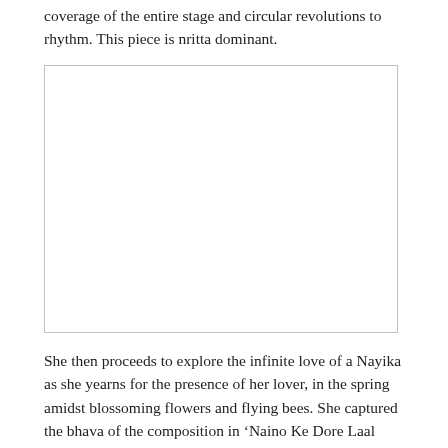coverage of the entire stage and circular revolutions to rhythm. This piece is nritta dominant.
[Figure (photo): A blank white image placeholder with a light border, representing a photo or illustration related to the dance performance described in the text.]
She then proceeds to explore the infinite love of a Nayika as she yearns for the presence of her lover, in the spring amidst blossoming flowers and flying bees. She captured the bhava of the composition in ‘Naino Ke Dore Laal Gulal Bhare’ of poet Suryakant Tripathi who writes with the pseudonym Nirala.